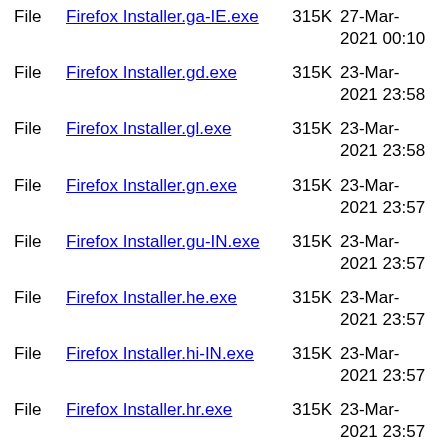File  Firefox Installer.ga-IE.exe  315K  27-Mar-2021 00:10
File  Firefox Installer.gd.exe  315K  23-Mar-2021 23:58
File  Firefox Installer.gl.exe  315K  23-Mar-2021 23:58
File  Firefox Installer.gn.exe  315K  23-Mar-2021 23:57
File  Firefox Installer.gu-IN.exe  315K  23-Mar-2021 23:57
File  Firefox Installer.he.exe  315K  23-Mar-2021 23:57
File  Firefox Installer.hi-IN.exe  315K  23-Mar-2021 23:57
File  Firefox Installer.hr.exe  315K  23-Mar-2021 23:57
File  Firefox Installer.hsb.exe  315K  23-Mar-2021 23:57
File  Firefox Installer.hu.exe  315K  23-Mar-2021 23:57
File  Firefox Installer.hy-AM.exe  315K  23-Mar-2021 23:54
File  Firefox Installer.hye.exe  315K  23-Mar-